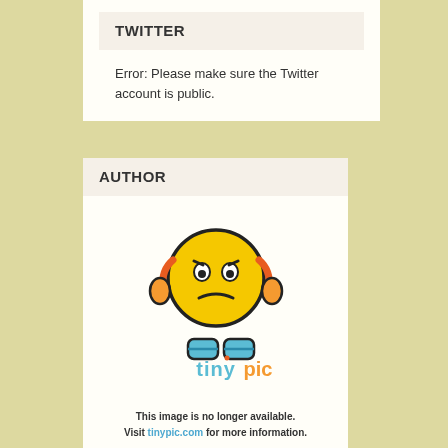TWITTER
Error: Please make sure the Twitter account is public.
AUTHOR
[Figure (illustration): Tinypic placeholder image: a frustrated yellow emoji character with orange ear-muffs and blue boots, with the tinypic.com logo and text 'This image is no longer available. Visit tinypic.com for more information.']
Krauser, yesterday